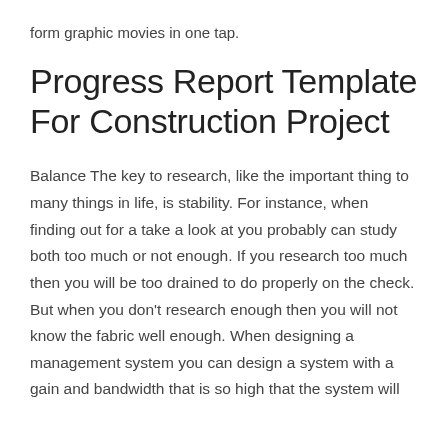form graphic movies in one tap.
Progress Report Template For Construction Project
Balance The key to research, like the important thing to many things in life, is stability. For instance, when finding out for a take a look at you probably can study both too much or not enough. If you research too much then you will be too drained to do properly on the check. But when you don't research enough then you will not know the fabric well enough. When designing a management system you can design a system with a gain and bandwidth that is so high that the system will